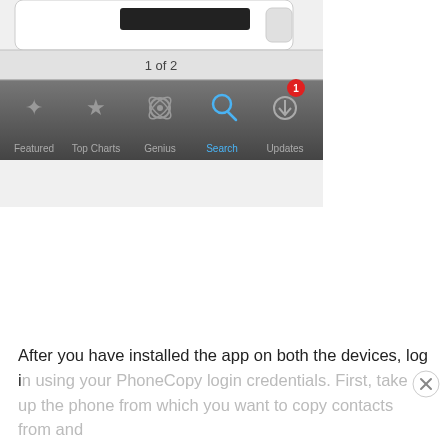[Figure (screenshot): Bottom portion of an iPhone App Store screenshot showing a pagination indicator '1 of 2' and a tab bar with icons: Featured, Top Charts, Genius, Search (active/blue), Updates (with red badge showing 1)]
After you have installed the app on both the devices, log in using your PhoneCopy login credentials. First, take up the phone from which you want to copy contacts from and